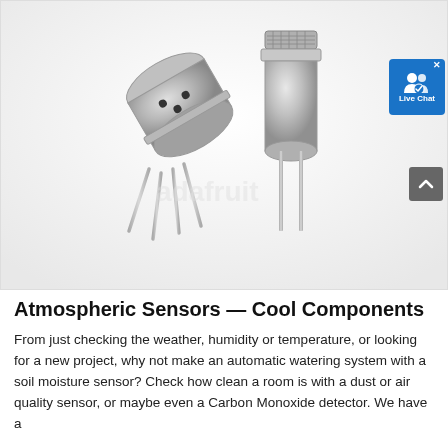[Figure (photo): Two metallic electronic sensor components on a white/light grey background. Left sensor is a TO-39 style package shown at an angle with four metal pins extending downward. Right sensor is a taller cylindrical TO-style package with a mesh/grid top and two metal legs. A Live Chat widget badge appears in the upper right corner.]
Atmospheric Sensors — Cool Components
From just checking the weather, humidity or temperature, or looking for a new project, why not make an automatic watering system with a soil moisture sensor? Check how clean a room is with a dust or air quality sensor, or maybe even a Carbon Monoxide detector. We have a